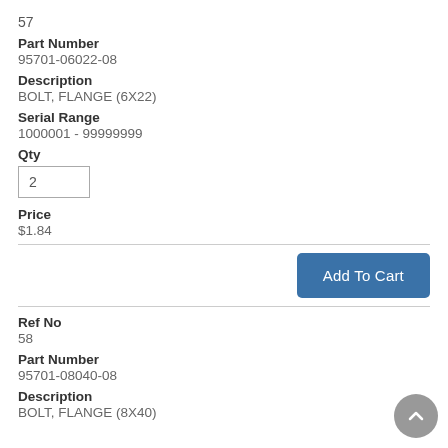57
Part Number
95701-06022-08
Description
BOLT, FLANGE (6X22)
Serial Range
1000001 - 99999999
Qty
2
Price
$1.84
Ref No
58
Part Number
95701-08040-08
Description
BOLT, FLANGE (8X40)